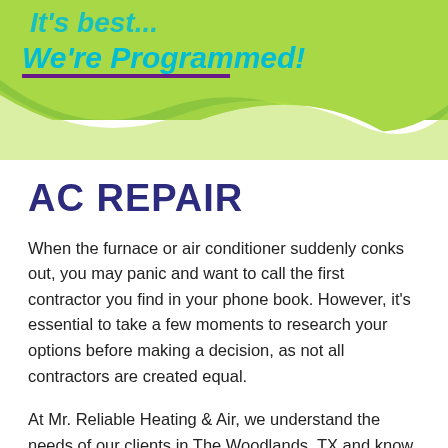[Figure (illustration): Green wave header with teal/purple italic text reading 'It's best... We're Programmed!' with a purple underline, on a bright green background with wave shape.]
AC REPAIR
When the furnace or air conditioner suddenly conks out, you may panic and want to call the first contractor you find in your phone book. However, it’s essential to take a few moments to research your options before making a decision, as not all contractors are created equal.
At Mr. Reliable Heating & Air, we understand the needs of our clients in The Woodlands, TX and know that finding a reputable AC repair company is at the top of your list. With us, you can rest assured that you are working with a licensed, insured, and bonded contractor. We are also happy to provide references upon request.